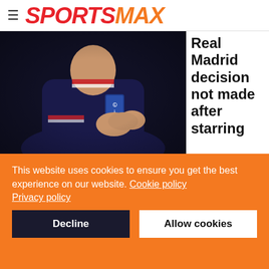SPORTSMAX
[Figure (photo): Football player in dark navy PSG kit with Ligue 1 badge, clapping hands, dark background]
Real Madrid decision not made after starring
in PSG five-goal show
April 03, 2022
This website uses cookies to ensure you get the best experience on our website. Cookie policy Privacy policy
Decline  Allow cookies